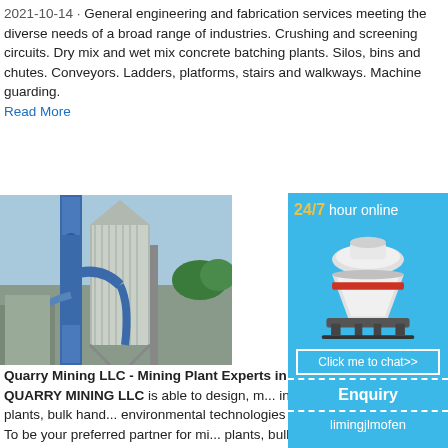2021-10-14 · General engineering and fabrication services meeting the diverse needs of a broad range of industries. Crushing and screening circuits. Dry mix and wet mix concrete batching plants. Silos, bins and chutes. Conveyors. Ladders, platforms, stairs and walkways. Machine guarding.
Read More
[Figure (photo): Industrial plant showing a blue silo/conveyor system with pipes and mechanical equipment against a sky background.]
Quarry Mining LLC - Mining Plant Experts in UAE
QUARRY MINING LLC is able to design, m... install mineral processing plants, bulk hand... environmental technologies in any plant co... mission To be your preferred partner for mi... plants, bulk handling systems and environm... s.
Read More
[Figure (infographic): Advertisement banner: blue background with '24/7 hour online' text in yellow/white, image of a white cone crusher machine, 'Click me to chat>>' button, 'Enquiry' section, and 'limingjlmofen' text at bottom.]